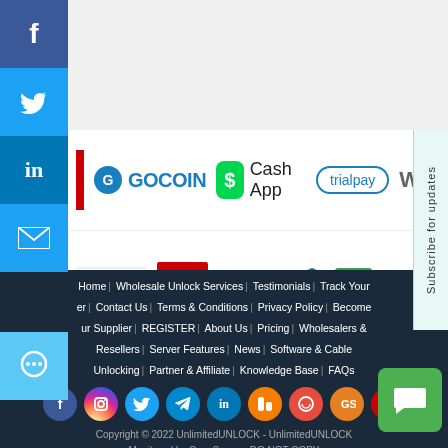[Figure (screenshot): Social media sidebar with Facebook, Twitter, LinkedIn, Email, and Chat icons on the left side]
[Figure (screenshot): Payment method logos including GoCoin, Cash App, Trialpay, Stripe, Giropay, Wells Fargo, Chase, TD Bank]
[Figure (screenshot): Subscribe for updates tab on the right side]
Home | Wholesale Unlock Services | Testimonials | Track Your Order | Contact Us | Terms & Conditions | Privacy Policy | Become Our Supplier | REGISTER | About Us | Pricing | Wholesalers & Resellers | Server Features | News | Software & Cable Unlocking | Partner & Affiliate | Knowledge Base | FAQs
Copyright © 2022 UnlimitedUNLOCK - UnlimitedUNLOCK Monitored by CopyScape - DO NOT COPY